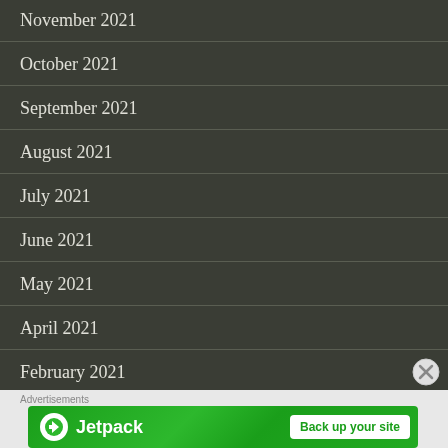November 2021
October 2021
September 2021
August 2021
July 2021
June 2021
May 2021
April 2021
March 2021
February 2021
J…
Advertisements
[Figure (other): Jetpack advertisement banner with logo and 'Back up your site' button]